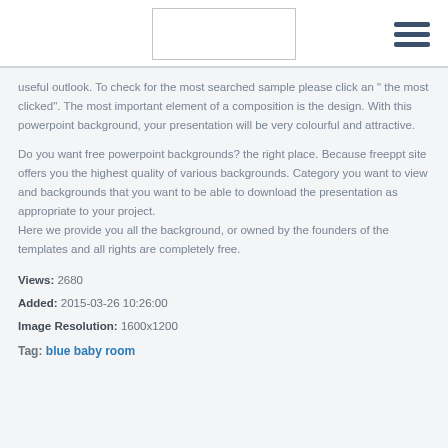[Logo placeholder] [Hamburger menu icon]
useful outlook. To check for the most searched sample please click an " the most clicked". The most important element of a composition is the design. With this powerpoint background, your presentation will be very colourful and attractive.
Do you want free powerpoint backgrounds? the right place. Because freeppt site offers you the highest quality of various backgrounds. Category you want to view and backgrounds that you want to be able to download the presentation as appropriate to your project.
Here we provide you all the background, or owned by the founders of the templates and all rights are completely free.
Views: 2680
Added: 2015-03-26 10:26:00
Image Resolution: 1600x1200
Tag: blue baby room